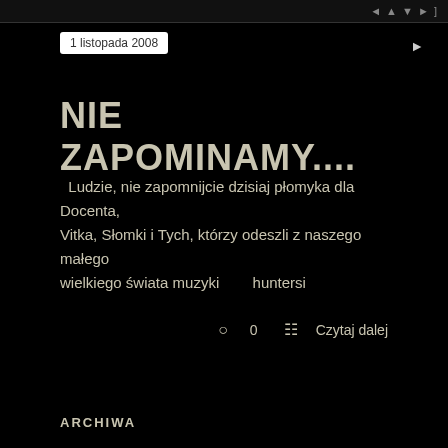1 listopada 2008
NIE ZAPOMINAMY....
Ludzie, nie zapomnijcie dzisiaj płomyka dla Docenta, Vitka, Słomki i Tych, którzy odeszli z naszego małego wielkiego świata muzyki        huntersi
○ 0  ☰  Czytaj dalej
ARCHIWA